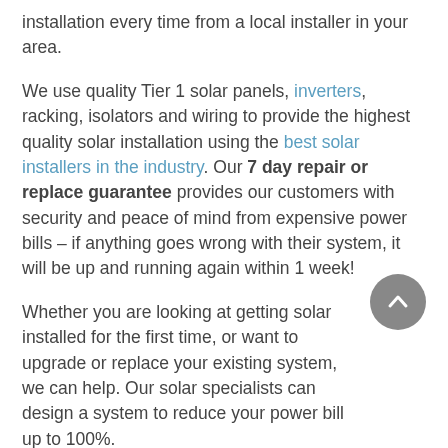installation every time from a local installer in your area.
We use quality Tier 1 solar panels, inverters, racking, isolators and wiring to provide the highest quality solar installation using the best solar installers in the industry. Our 7 day repair or replace guarantee provides our customers with security and peace of mind from expensive power bills – if anything goes wrong with their system, it will be up and running again within 1 week!
Whether you are looking at getting solar installed for the first time, or want to upgrade or replace your existing system, we can help. Our solar specialists can design a system to reduce your power bill up to 100%.
We use a program called Nearmap – using high resolution satellite photographs, we can design your roof layout, see how many panels can fit and ensure there are no shading